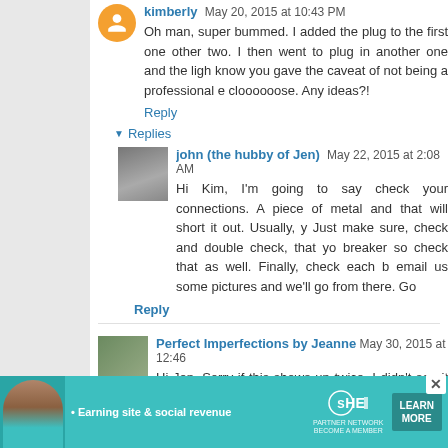kimberly May 20, 2015 at 10:43 PM
Oh man, super bummed. I added the plug to the first one other two. I then went to plug in another one and the ligh know you gave the caveat of not being a professional e cloooooose. Any ideas?!
Reply
Replies
john (the hubby of Jen) May 22, 2015 at 2:08 AM
Hi Kim, I'm going to say check your connections. A piece of metal and that will short it out. Usually, y Just make sure, check and double check, that yo breaker so check that as well. Finally, check each b email us some pictures and we'll go from there. Go
Reply
Perfect Imperfections by Jeanne May 30, 2015 at 12:46
Hi Jen, Sorry if this shows up twice. I didn't see it post. In th pendant? Or, do you end up with three plugs? Thanks
[Figure (infographic): SHE Partner Network advertisement banner: teal/turquoise background with woman photo, 'Earning site & social revenue' text, SHE logo, PARTNER NETWORK / BECOME A MEMBER text, and LEARN MORE button]